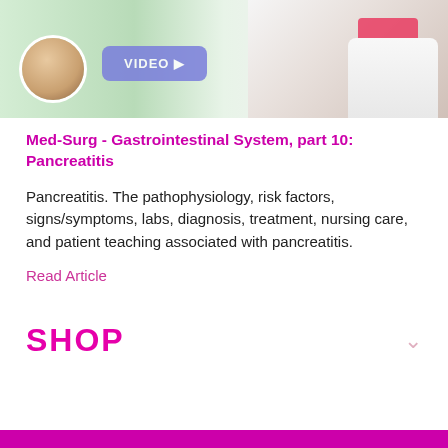[Figure (photo): Banner image showing a female healthcare professional (doctor/nurse) in a white coat with a pink top, with an avatar circle on the left and a purple video badge in the middle, on a light green background.]
Med-Surg - Gastrointestinal System, part 10: Pancreatitis
Pancreatitis. The pathophysiology, risk factors, signs/symptoms, labs, diagnosis, treatment, nursing care, and patient teaching associated with pancreatitis.
Read Article
SHOP
[Figure (other): Magenta/pink horizontal bar at the bottom of the page.]